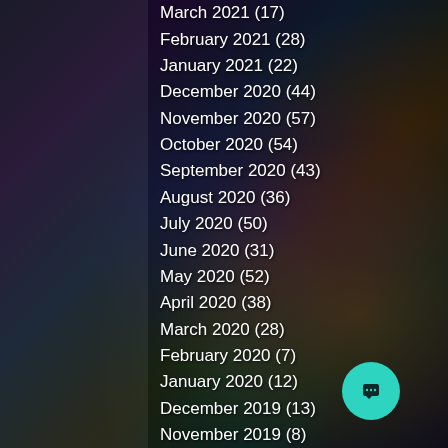March 2021 (17)
February 2021 (28)
January 2021 (22)
December 2020 (44)
November 2020 (57)
October 2020 (54)
September 2020 (43)
August 2020 (36)
July 2020 (50)
June 2020 (31)
May 2020 (52)
April 2020 (38)
March 2020 (28)
February 2020 (7)
January 2020 (12)
December 2019 (13)
November 2019 (8)
October 2019 (13)
September 2019 (8)
August 2019 (6)